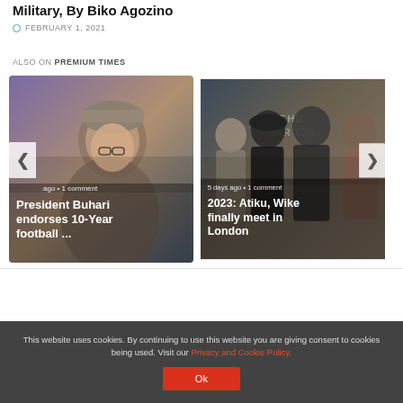Military, By Biko Agozino
FEBRUARY 1, 2021
ALSO ON PREMIUM TIMES
[Figure (photo): Carousel slide 1: President Buhari photo with overlay text 'ago • 1 comment' and title 'President Buhari endorses 10-Year football ...' with left nav arrow]
[Figure (photo): Carousel slide 2: Atiku and Wike photo with overlay text '5 days ago • 1 comment' and title '2023: Atiku, Wike finally meet in London' with right nav arrow]
This website uses cookies. By continuing to use this website you are giving consent to cookies being used. Visit our Privacy and Cookie Policy.
Ok